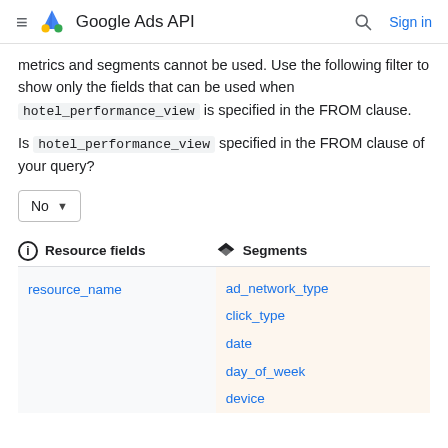Google Ads API  Sign in
metrics and segments cannot be used. Use the following filter to show only the fields that can be used when hotel_performance_view is specified in the FROM clause.
Is hotel_performance_view specified in the FROM clause of your query?
No
Resource fields   Segments
| Resource fields | Segments |
| --- | --- |
| resource_name | ad_network_type
click_type
date
day_of_week
device |